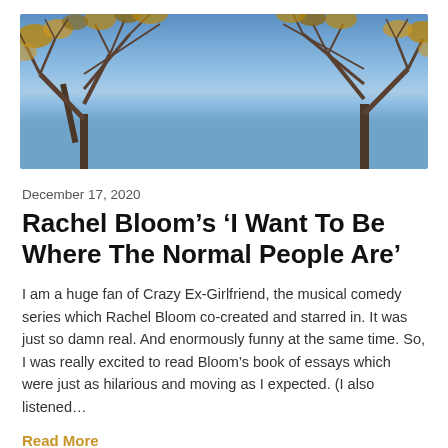[Figure (photo): Outdoor photo looking upward at tree branches with autumn/winter foliage against a blue sky. Trees visible on left and right sides of frame with bare and leaf-covered branches. Clear blue sky in the center background.]
December 17, 2020
Rachel Bloom’s ‘I Want To Be Where The Normal People Are’
I am a huge fan of Crazy Ex-Girlfriend, the musical comedy series which Rachel Bloom co-created and starred in. It was just so damn real. And enormously funny at the same time. So, I was really excited to read Bloom’s book of essays which were just as hilarious and moving as I expected. (I also listened…
Read More